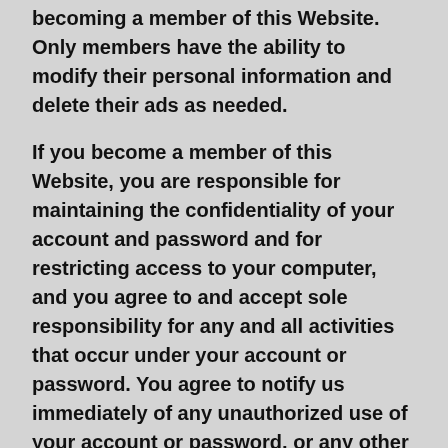becoming a member of this Website. Only members have the ability to modify their personal information and delete their ads as needed.
If you become a member of this Website, you are responsible for maintaining the confidentiality of your account and password and for restricting access to your computer, and you agree to and accept sole responsibility for any and all activities that occur under your account or password. You agree to notify us immediately of any unauthorized use of your account or password, or any other breach of security, of which you become aware. However, you may be held liable for losses incurred by us or any other user of, or visitor to, this Website due to someone else using your account or password. Please see our Privacy Policy for further information regarding your account or password.